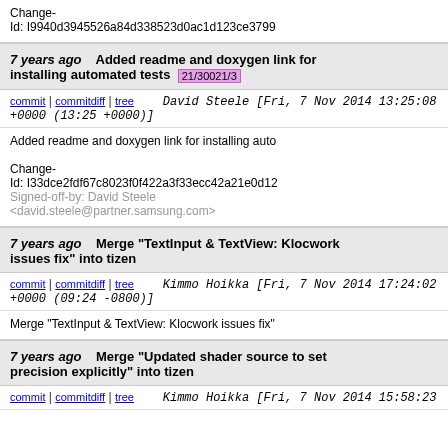Change-Id: I9940d3945526a84d338523d0ac1d123ce3799...
7 years ago   Added readme and doxygen link for installing automated tests  21/30021/3
commit | commitdiff | tree   David Steele [Fri, 7 Nov 2014 13:25:08 +0000 (13:25 +0000)]
Added readme and doxygen link for installing auto...

Change-Id: I33dce2fdf67c8023f0f422a3f33ecc42a21e0d12...
Signed-off-by: David Steele <david.steele@partner.samsung.com>
7 years ago   Merge "TextInput & TextView: Klocwork issues fix" into tizen
commit | commitdiff | tree   Kimmo Hoikka [Fri, 7 Nov 2014 17:24:02 +0000 (09:24 -0800)]
Merge "TextInput & TextView: Klocwork issues fix"
7 years ago   Merge "Updated shader source to set precision explicitly" into tizen
commit | commitdiff | tree   Kimmo Hoikka [Fri, 7 Nov 2014 15:58:23